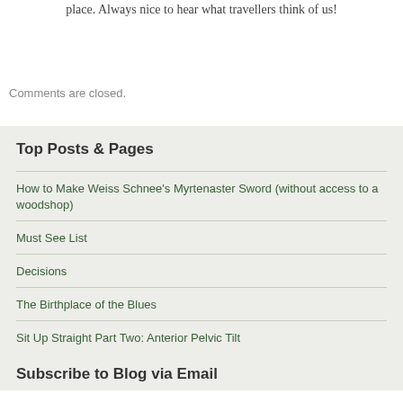place. Always nice to hear what travellers think of us!
Comments are closed.
Top Posts & Pages
How to Make Weiss Schnee's Myrtenaster Sword (without access to a woodshop)
Must See List
Decisions
The Birthplace of the Blues
Sit Up Straight Part Two: Anterior Pelvic Tilt
Subscribe to Blog via Email